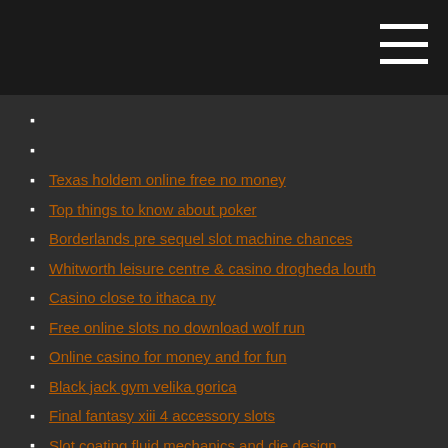Texas holdem online free no money
Top things to know about poker
Borderlands pre sequel slot machine chances
Whitworth leisure centre & casino drogheda louth
Casino close to ithaca ny
Free online slots no download wolf run
Online casino for money and for fun
Black jack gym velika gorica
Final fantasy xiii 4 accessory slots
Slot coating fluid mechanics and die design
Big fish casino app real money
Slot lv games with best odds